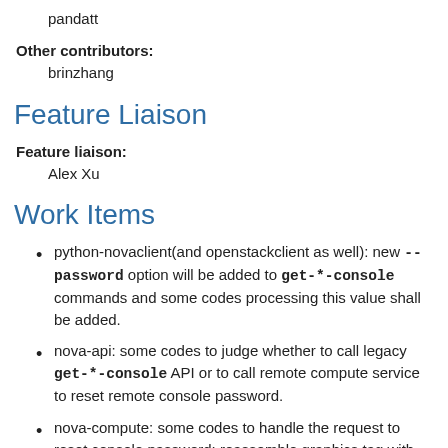pandatt
Other contributors:
brinzhang
Feature Liaison
Feature liaison:
Alex Xu
Work Items
python-novaclient(and openstackclient as well): new --password option will be added to get-*-console commands and some codes processing this value shall be added.
nova-api: some codes to judge whether to call legacy get-*-console API or to call remote compute service to reset remote console password.
nova-compute: some codes to handle the request to reset console password: reassemble graphics tag with password and update it to libvirt XML.